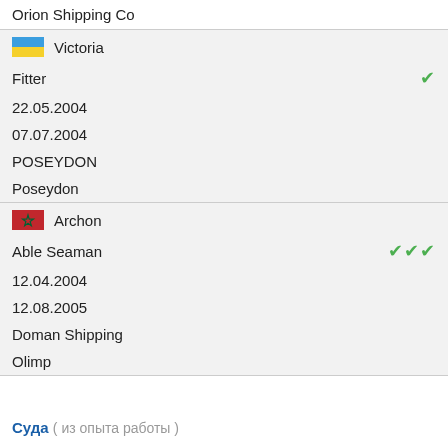Orion Shipping Co
Victoria | Fitter | 22.05.2004 | 07.07.2004 | POSEYDON | Poseydon
Archon | Able Seaman | 12.04.2004 | 12.08.2005 | Doman Shipping | Olimp
Суда ( из опыта работы )